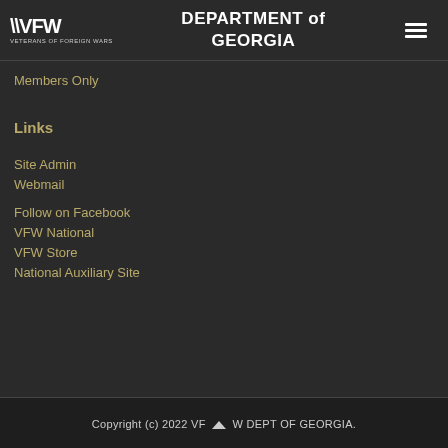DEPARTMENT of GEORGIA
Members Only
Links
Site Admin
Webmail
Follow on Facebook
VFW National
VFW Store
National Auxiliary Site
Copyright (c) 2022 VFW DEPT OF GEORGIA.